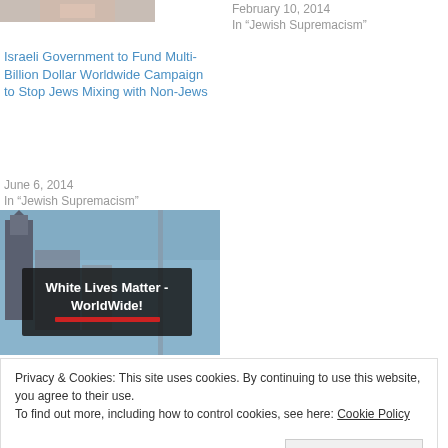[Figure (photo): Partial thumbnail image cropped at top of left column]
Israeli Government to Fund Multi-Billion Dollar Worldwide Campaign to Stop Jews Mixing with Non-Jews
June 6, 2014
In “Jewish Supremacism”
February 10, 2014
In “Jewish Supremacism”
[Figure (photo): Photo of a billboard on a building reading 'White Lives Matter - WorldWide!' with a red underline, against a city skyline with a church tower]
Dr Duke & Mark Collett -
Privacy & Cookies: This site uses cookies. By continuing to use this website, you agree to their use.
To find out more, including how to control cookies, see here: Cookie Policy
Close and accept
In “Politics”